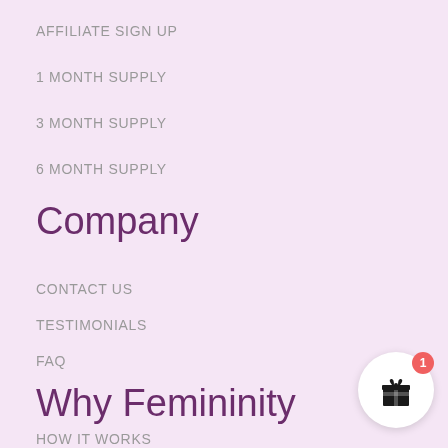AFFILIATE SIGN UP
1 MONTH SUPPLY
3 MONTH SUPPLY
6 MONTH SUPPLY
Company
CONTACT US
TESTIMONIALS
FAQ
Why Femininity
HOW IT WORKS
[Figure (illustration): Gift box icon button with red badge showing number 1, circular white button in bottom right corner]